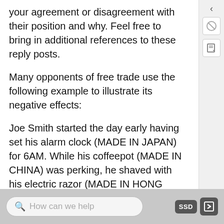your agreement or disagreement with their position and why. Feel free to bring in additional references to these reply posts.
Many opponents of free trade use the following example to illustrate its negative effects:
Joe Smith started the day early having set his alarm clock (MADE IN JAPAN) for 6AM. While his coffeepot (MADE IN CHINA) was perking, he shaved with his electric razor (MADE IN HONG KONG). He put on a dress shirt (MADE IN SRI LANKA), designer jeans (MADE IN SINGAPORE) and tennis shoes (MADE IN KOREA). After cooking his breakfast in his new electric skillet (MADE IN INDIA) he sat down with his calculator (MADE IN MEXICO) to see how much he
How can we help